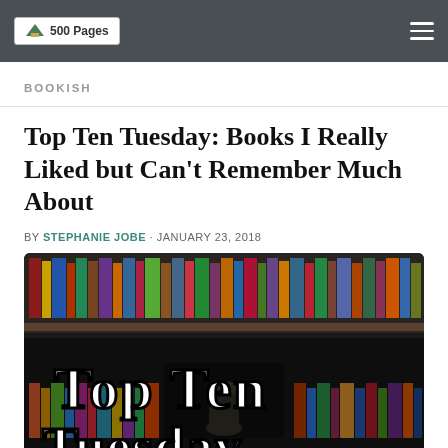500 Pages
BOOKISH
Top Ten Tuesday: Books I Really Liked but Can't Remember Much About
BY STEPHANIE JOBE · JANUARY 23, 2018
[Figure (photo): Bookshelves filled with colorful books, with large white hand-lettered text reading 'Top Ten Tuesday' overlaid on the image]